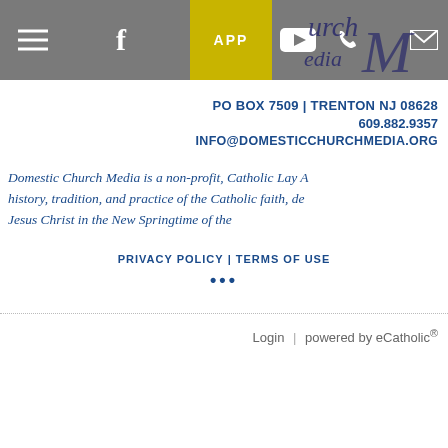Navigation bar with hamburger menu, Facebook icon, APP button, YouTube icon, phone icon, email icon, and Church Media logo
PO BOX 7509 | TRENTON NJ 08628
609.882.9357
INFO@DOMESTICCHURCHMEDIA.ORG
Domestic Church Media is a non-profit, Catholic Lay A... history, tradition, and practice of the Catholic faith, de... Jesus Christ in the New Springtime of the...
PRIVACY POLICY | TERMS OF USE
•••
Login | powered by eCatholic®